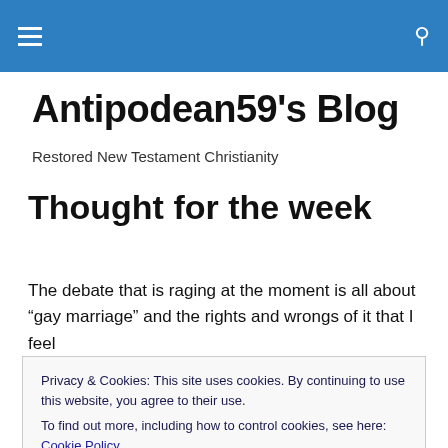Navigation bar with hamburger menu and search icon
Antipodean59's Blog
Restored New Testament Christianity
Thought for the week
The debate that is raging at the moment is all about “gay marriage” and the rights and wrongs of it that I feel
Privacy & Cookies: This site uses cookies. By continuing to use this website, you agree to their use.
To find out more, including how to control cookies, see here: Cookie Policy